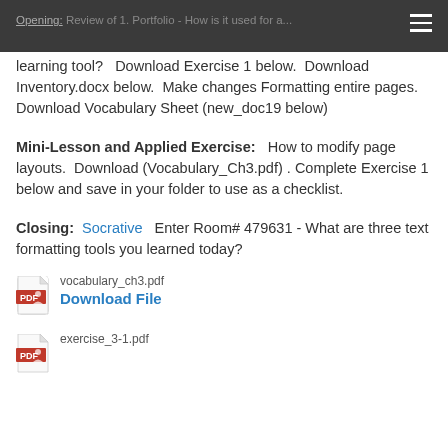Opening: Review of 1. Portfolio - How is it used for a learning tool?  Download Exercise 1 below.  Download Inventory.docx below.  Make changes Formatting entire pages.  Download Vocabulary Sheet (new_doc19 below)
Opening:  Review of 1. Portfolio - How is it used for a learning tool?   Download Exercise 1 below.  Download Inventory.docx below.  Make changes Formatting entire pages.  Download Vocabulary Sheet (new_doc19 below)
Mini-Lesson and Applied Exercise:   How to modify page layouts.  Download (Vocabulary_Ch3.pdf) .  Complete Exercise 1 below and save in your folder to use as a checklist.
Closing:  Socrative   Enter Room# 479631 - What are three text formatting tools you learned today?
[Figure (other): PDF file icon for vocabulary_ch3.pdf with Download File link]
[Figure (other): PDF file icon for exercise_3-1.pdf with Download File link]